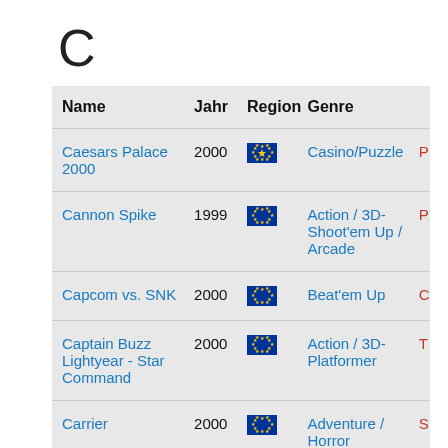C
| Name | Jahr | Region | Genre |
| --- | --- | --- | --- |
| Caesars Palace 2000 | 2000 | [EU flag] | Casino/Puzzle |
| Cannon Spike | 1999 | [EU flag] | Action / 3D-Shoot'em Up / Arcade |
| Capcom vs. SNK | 2000 | [EU flag] | Beat'em Up |
| Captain Buzz Lightyear - Star Command | 2000 | [EU flag] | Action / 3D-Platformer |
| Carrier | 2000 | [EU flag] | Adventure / Horror |
| Championship Surfer | 2000 | [EU flag] | Sport |